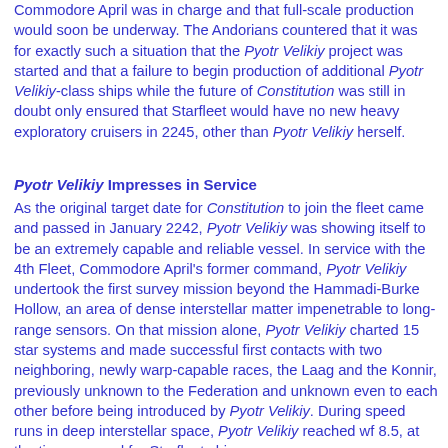Commodore April was in charge and that full-scale production would soon be underway. The Andorians countered that it was for exactly such a situation that the Pyotr Velikiy project was started and that a failure to begin production of additional Pyotr Velikiy-class ships while the future of Constitution was still in doubt only ensured that Starfleet would have no new heavy exploratory cruisers in 2245, other than Pyotr Velikiy herself.
Pyotr Velikiy Impresses in Service
As the original target date for Constitution to join the fleet came and passed in January 2242, Pyotr Velikiy was showing itself to be an extremely capable and reliable vessel. In service with the 4th Fleet, Commodore April's former command, Pyotr Velikiy undertook the first survey mission beyond the Hammadi-Burke Hollow, an area of dense interstellar matter impenetrable to long-range sensors. On that mission alone, Pyotr Velikiy charted 15 star systems and made successful first contacts with two neighboring, newly warp-capable races, the Laag and the Konnir, previously unknown to the Federation and unknown even to each other before being introduced by Pyotr Velikiy. During speed runs in deep interstellar space, Pyotr Velikiy reached wf 8.5, at the time a record for Starfleet ships.